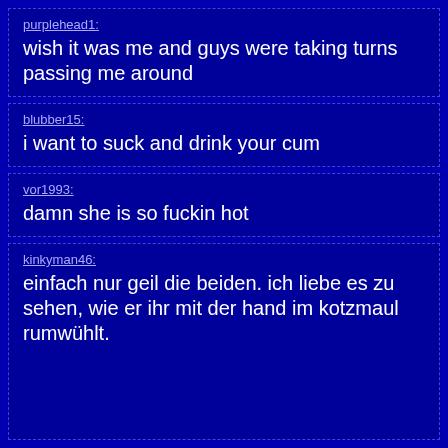purplehead1: wish it was me and guys were taking turns passing me around
blubber15: i want to suck and drink your cum
vor1993: damn she is so fuckin hot
kinkyman46: einfach nur geil die beiden. ich liebe es zu sehen, wie er ihr mit der hand im kotzmaul rumwühlt.